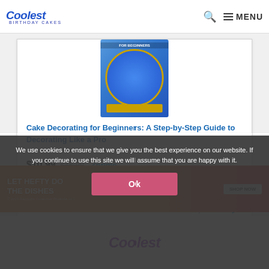Coolest Birthday Cakes — MENU
[Figure (photo): Blue birthday cake with gold decorations on white background, shown as a book cover for 'Cake Decorating for Beginners']
Cake Decorating for Beginners: A Step-by-Step Guide to Decorating Like a Pro
$10.99  $15.99  ✓prime  ★★★★★ (2978)
Ads by Amazon ▷
[Figure (photo): Advertisement banner: LET HEFTY DO THE DISHES — SHOP NOW]
We use cookies to ensure that we give you the best experience on our website. If you continue to use this site we will assume that you are happy with it.
Ok